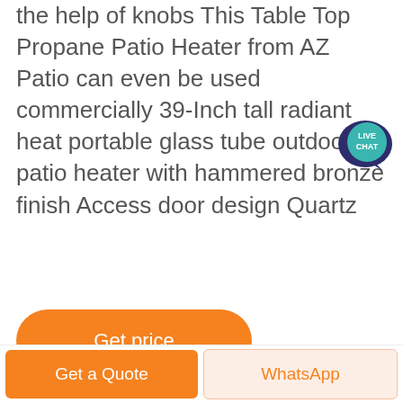the help of knobs This Table Top Propane Patio Heater from AZ Patio can even be used commercially 39-Inch tall radiant heat portable glass tube outdoor patio heater with hammered bronze finish Access door design Quartz
[Figure (illustration): Live Chat speech bubble icon in dark navy blue with teal background]
[Figure (other): Orange rounded rectangle Get price button]
[Figure (photo): Outdoor landscape photo showing blue sky with white clouds and green hills/trees]
[Figure (other): Black circular scroll-to-top button with white chevron arrow]
[Figure (other): Bottom navigation bar with orange Get a Quote button and WhatsApp button]